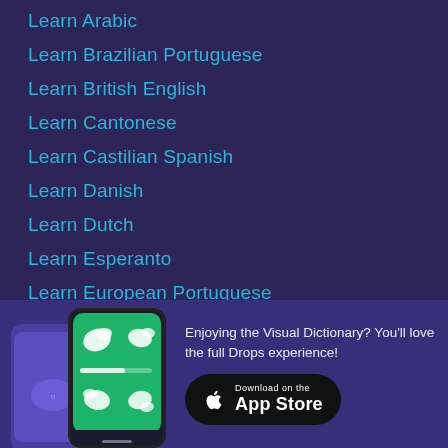Learn Arabic
Learn Brazilian Portuguese
Learn British English
Learn Cantonese
Learn Castilian Spanish
Learn Danish
Learn Dutch
Learn Esperanto
Learn European Portuguese
Learn Finnish
Learn French
Learn German
[Figure (screenshot): Two smartphones showing the Drops language learning app interface with illustrated vocabulary items on a green background]
Enjoying the Visual Dictionary? You'll love the full Drops experience!
[Figure (logo): Download on the App Store button with Apple logo]